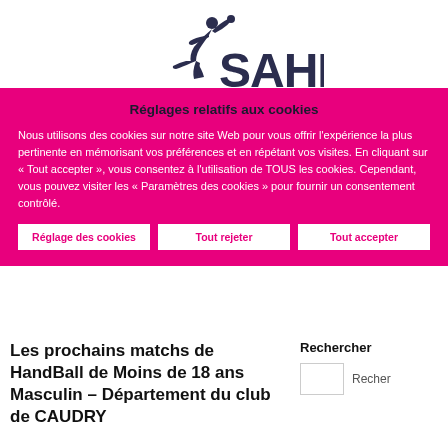[Figure (logo): SAHB handball association logo with player silhouette and large SAHB text in dark navy blue]
Réglages relatifs aux cookies
Nous utilisons des cookies sur notre site Web pour vous offrir l'expérience la plus pertinente en mémorisant vos préférences et en répétant vos visites. En cliquant sur « Tout accepter », vous consentez à l'utilisation de TOUS les cookies. Cependant, vous pouvez visiter les « Paramètres des cookies » pour fournir un consentement contrôlé.
Réglage des cookies
Tout rejeter
Tout accepter
Les prochains matchs de HandBall de Moins de 18 ans Masculin – Département du club de CAUDRY
Rechercher